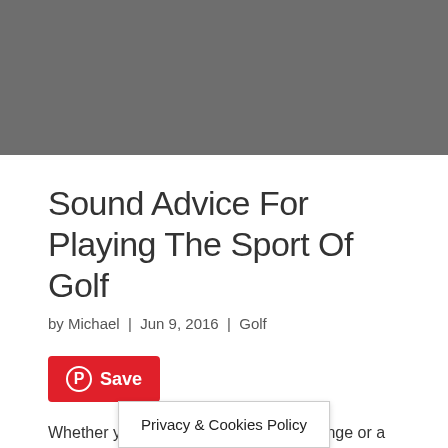[Figure (other): Gray banner/header image placeholder at the top of the page]
Sound Advice For Playing The Sport Of Golf
by Michael | Jun 9, 2016 | Golf
[Figure (other): Pinterest Save button (red button with Pinterest logo and Save text)]
Whether you are a pro on the driving range or a novice at the local miniature
Privacy & Cookies Policy